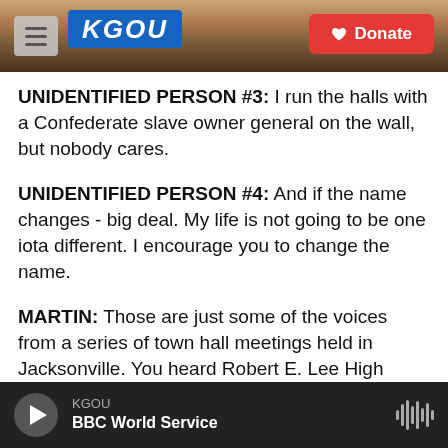[Figure (screenshot): KGOU radio website header with hamburger menu, KGOU logo in blue, city skyline background, and red Donate button]
UNIDENTIFIED PERSON #3: I run the halls with a Confederate slave owner general on the wall, but nobody cares.
UNIDENTIFIED PERSON #4: And if the name changes - big deal. My life is not going to be one iota different. I encourage you to change the name.
MARTIN: Those are just some of the voices from a series of town hall meetings held in Jacksonville. You heard Robert E. Lee High School mentioned. The Confederate general's name is at the center of the debate in this city. The school has been around since 1927. The next few words begin to trail off...
KGOU
BBC World Service